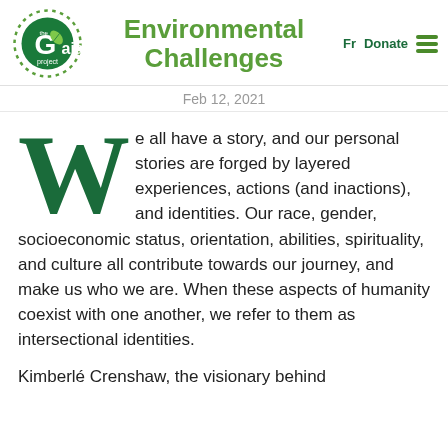[Figure (logo): The Gaia Project logo — circular sun/leaf emblem with 'the Gaia project' text]
Environmental Challenges
Fr  Donate
Feb 12, 2021
We all have a story, and our personal stories are forged by layered experiences, actions (and inactions), and identities. Our race, gender, socioeconomic status, orientation, abilities, spirituality, and culture all contribute towards our journey, and make us who we are. When these aspects of humanity coexist with one another, we refer to them as intersectional identities.
Kimberlé Crenshaw, the visionary behind